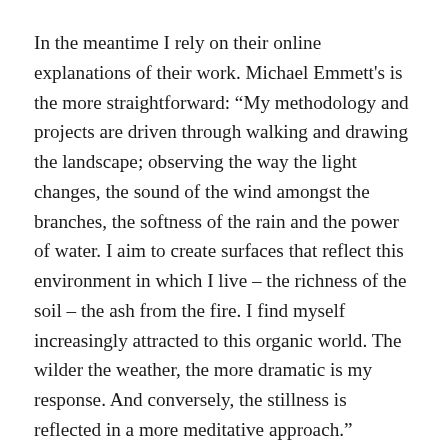In the meantime I rely on their online explanations of their work. Michael Emmett's is the more straightforward: “My methodology and projects are driven through walking and drawing the landscape; observing the way the light changes, the sound of the wind amongst the branches, the softness of the rain and the power of water. I aim to create surfaces that reflect this environment in which I live – the richness of the soil – the ash from the fire. I find myself increasingly attracted to this organic world. The wilder the weather, the more dramatic is my response. And conversely, the stillness is reflected in a more meditative approach.”